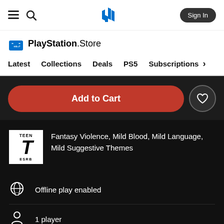PlayStation Store navigation bar with hamburger menu, search, PlayStation logo, and Sign In button
PlayStation Store
Latest  Collections  Deals  PS5  Subscriptions
Add to Cart
Fantasy Violence, Mild Blood, Mild Language, Mild Suggestive Themes
Offline play enabled
1 player
DUALSHOCK 4 vibration